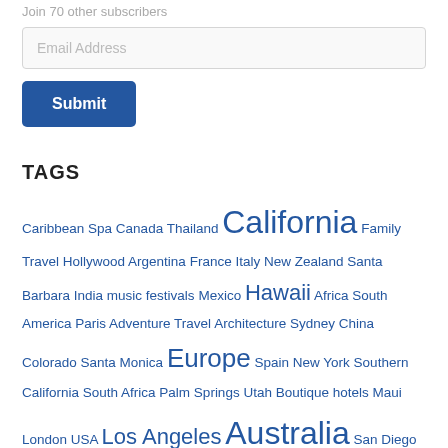Join 70 other subscribers
Email Address
Submit
TAGS
Caribbean Spa Canada Thailand California Family Travel Hollywood Argentina France Italy New Zealand Santa Barbara India music festivals Mexico Hawaii Africa South America Paris Adventure Travel Architecture Sydney China Colorado Santa Monica Europe Spain New York Southern California South Africa Palm Springs Utah Boutique hotels Maui London USA Los Angeles Australia San Diego Asia Park City Germany Wine England Bora Bora
INSTAGRAM